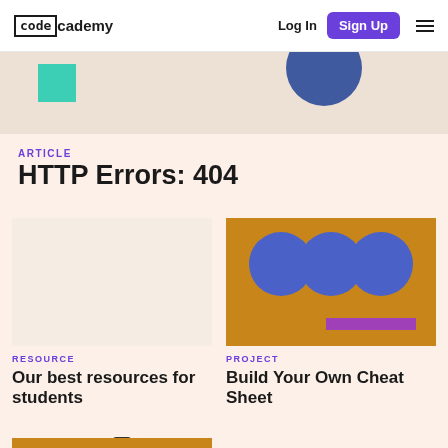codecademy — Log In | Sign Up
[Figure (illustration): Partial hero banner with teal square and dark blue circle on beige background]
ARTICLE
HTTP Errors: 404
[Figure (illustration): Browser window with lock icon, dark rectangle, ladder, flag arrow, and cursor illustration on light background]
RESOURCE
Our best resources for students
[Figure (illustration): Orange/amber background with three blue circles and a purple horizontal bar]
PROJECT
Build Your Own Cheat Sheet